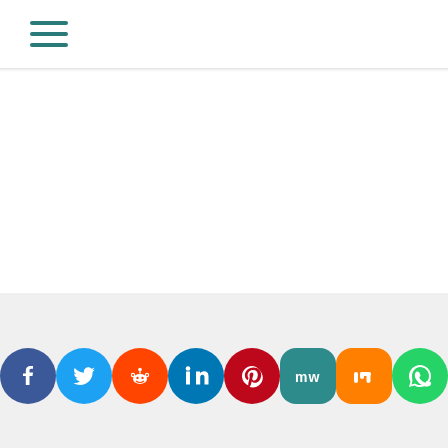[Figure (other): Hamburger menu icon with three teal horizontal lines]
[Figure (other): Social media sharing icons row: Facebook, Twitter, Reddit, LinkedIn, Pinterest, ManyWays/MW, Mix, WhatsApp]